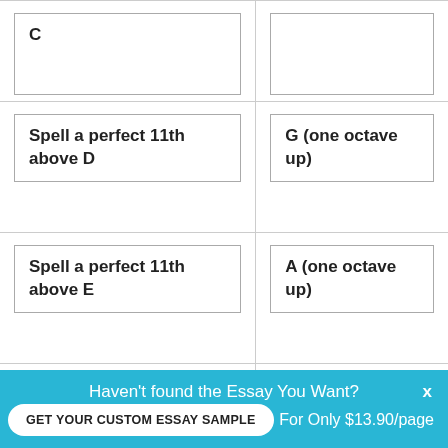| Question | Answer |
| --- | --- |
| C |  |
| Spell a perfect 11th above D | G (one octave up) |
| Spell a perfect 11th above E | A (one octave up) |
| Spell a perfect 11th above F | Bb (one octave up) |
Haven't found the Essay You Want?
GET YOUR CUSTOM ESSAY SAMPLE
For Only $13.90/page